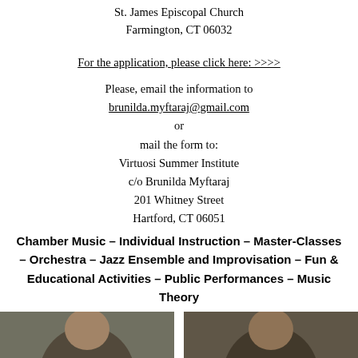St. James Episcopal Church
Farmington, CT 06032
For the application, please click here: >>>>
Please, email the information to
brunilda.myftaraj@gmail.com
or
mail the form to:
Virtuosi Summer Institute
c/o Brunilda Myftaraj
201 Whitney Street
Hartford, CT 06051
Chamber Music – Individual Instruction – Master-Classes – Orchestra – Jazz Ensemble and Improvisation – Fun & Educational Activities – Public Performances – Music Theory
[Figure (photo): Two portrait photos side by side at the bottom of the page]